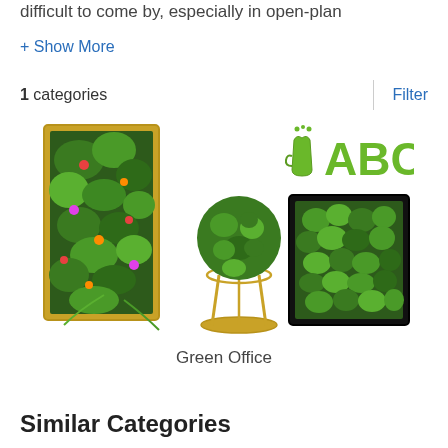difficult to come by, especially in open-plan
+ Show More
1 categories
Filter
[Figure (illustration): Green Office product category illustration showing a tall vertical garden panel with colorful plants, a round moss ball on a gold stand, green ABC letters with a coffee cup icon, and a rectangular moss wall panel in a black frame.]
Green Office
Similar Categories